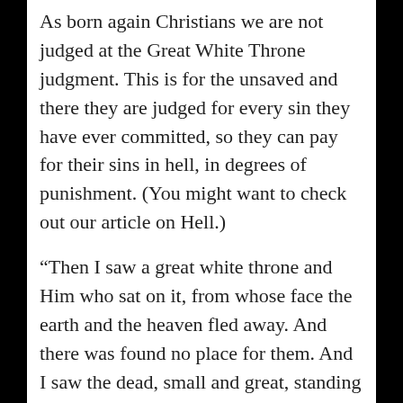As born again Christians we are not judged at the Great White Throne judgment. This is for the unsaved and there they are judged for every sin they have ever committed, so they can pay for their sins in hell, in degrees of punishment. (You might want to check out our article on Hell.)
“Then I saw a great white throne and Him who sat on it, from whose face the earth and the heaven fled away. And there was found no place for them. And I saw the dead, small and great, standing before God, and books were opened. And another book was opened, which is the Book of Life. And the dead were judged according to their works, by the things which were written in the books.” (Revelation 20: 11-12) You notice in these verses it says “another book was opened, which is the